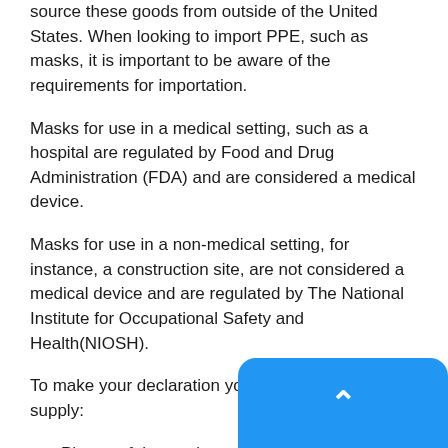source these goods from outside of the United States. When looking to import PPE, such as masks, it is important to be aware of the requirements for importation.
Masks for use in a medical setting, such as a hospital are regulated by Food and Drug Administration (FDA) and are considered a medical device.
Masks for use in a non-medical setting, for instance, a construction site, are not considered a medical device and are regulated by The National Institute for Occupational Safety and Health(NIOSH).
To make your declaration you will be asked to supply:
Photos of the product
Proof of certification by a go
Product certification